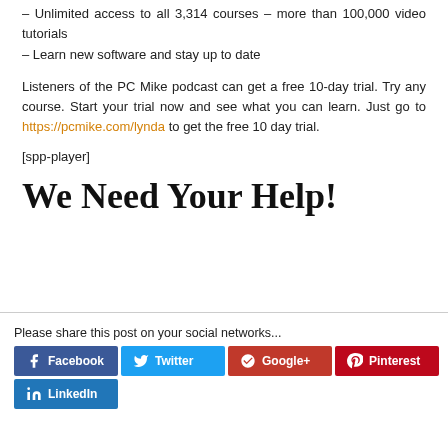– Unlimited access to all 3,314 courses – more than 100,000 video tutorials
– Learn new software and stay up to date
Listeners of the PC Mike podcast can get a free 10-day trial. Try any course. Start your trial now and see what you can learn. Just go to https://pcmike.com/lynda to get the free 10 day trial.
[spp-player]
We Need Your Help!
Please share this post on your social networks...
Facebook  Twitter  Google+  Pinterest  LinkedIn